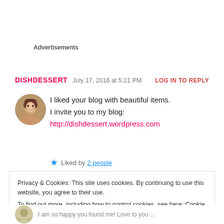Advertisements
DISHDESSERT   July 17, 2016 at 5:21 PM   LOG IN TO REPLY
[Figure (photo): Circular avatar photo of a young woman with brown wavy hair, smiling]
I liked your blog with beautiful items.
I invite you to my blog:
http://dishdessert.wordpress.com
★ Liked by 2 people
Privacy & Cookies: This site uses cookies. By continuing to use this website, you agree to their use.
To find out more, including how to control cookies, see here: Cookie Policy
Close and accept